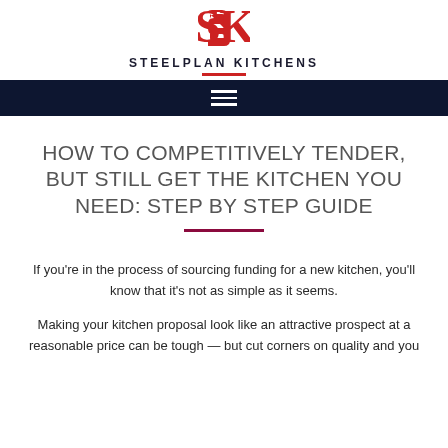STEELPLAN KITCHENS
HOW TO COMPETITIVELY TENDER, BUT STILL GET THE KITCHEN YOU NEED: STEP BY STEP GUIDE
If you're in the process of sourcing funding for a new kitchen, you'll know that it's not as simple as it seems.
Making your kitchen proposal look like an attractive prospect at a reasonable price can be tough — but cut corners on quality and you